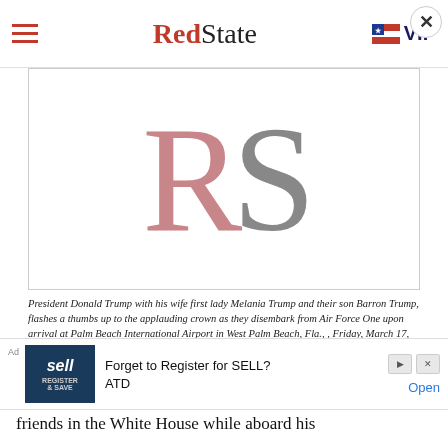RedState | VIP
[Figure (logo): RedState RS logo — large serif letters R (pink/rose) and S (gray) on white background]
President Donald Trump with his wife first lady Melania Trump and their son Barron Trump, flashes a thumbs up to the applauding crown as they disembark from Air Force One upon arrival at Palm Beach International Airport in West Palm Beach, Fla., , Friday, March 17, 2017. (AP Photo/Manuel Balce Ceneta)
I remember absolutely RAGING with my conservative
friends in the White House while aboard his
[Figure (screenshot): Advertisement banner: 'Forget to Register for SELL? ATD' with Open button]